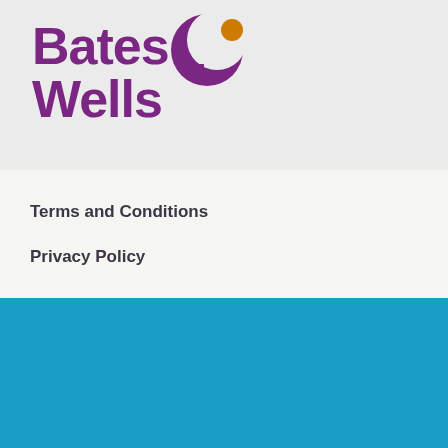[Figure (logo): Bates Wells law firm logo with purple text and decorative icon with purple crescent and orange circle]
Terms and Conditions
Privacy Policy